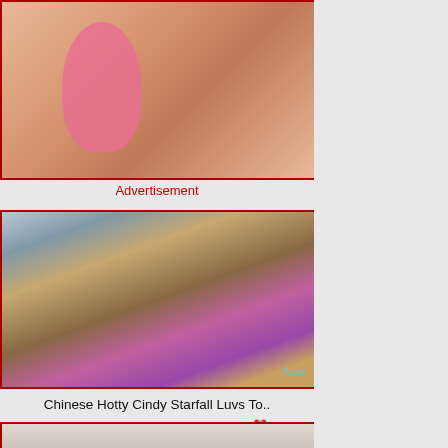[Figure (photo): Adult advertisement image at top with red border]
Advertisement
[Figure (photo): Video thumbnail: Chinese Hotty Cindy Starfall with fluxe watermark]
Chinese Hotty Cindy Starfall Luvs To..
👁 13   🕐 11:59
[Figure (photo): Partial video thumbnail at bottom]